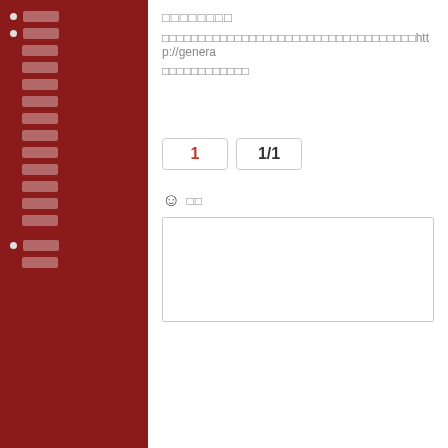□□□□
□□□□
□□□□
□□□□
□□□□
□□□□
□□□□
□□□
□□□□
□□□□
□□□□
□□□□
□□□□
□□□□
□□□□
□□□□□□□□
□□□□□□□□□□□□□□□□□□□□□□□□□□□□□□□□□□□http://genera
□□□□□□□□□□□□
1  1/1
☺ □□